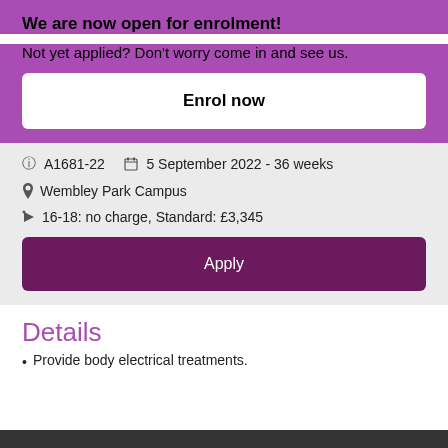We are now open for enrolment!
Not yet applied? Don't worry come in and see us.
Enrol now
ⓘ A1681-22   📅 5 September 2022 - 36 weeks
📍 Wembley Park Campus
🏷 16-18: no charge, Standard: £3,345
Apply
Details
Provide body electrical treatments.